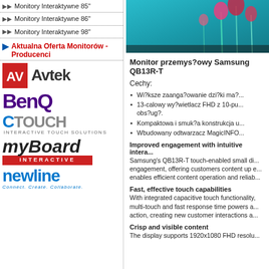Monitory Interaktywne 85"
Monitory Interaktywne 86"
Monitory Interaktywne 98"
Aktualna Oferta Monitorów - Producenci
[Figure (logo): Avtek logo - red box with AV letters and Avtek text]
[Figure (logo): BenQ logo in dark purple]
[Figure (logo): CTOUCH Interactive Touch Solutions logo in blue]
[Figure (logo): myBoard Interactive logo]
[Figure (logo): newline Connect. Create. Collaborate. logo in blue]
[Figure (photo): Product display monitor showing flowers on teal background]
Monitor przemys?owy Samsung QB13R-T
Cechy:
Wi?ksze zaanga?owanie dzi?ki ma?...
13-calowy wy?wietlacz FHD z 10-pu... obs?ug?.
Kompaktowa i smuk?a konstrukcja u...
Wbudowany odtwarzacz MagicINFO...
Improved engagement with intuitive intera... Samsung's QB13R-T touch-enabled small di... engagement, offering customers content up e... enables efficient content operation and reliab...
Fast, effective touch capabilities
With integrated capacitive touch functionality, multi-touch and fast response time powers a... action, creating new customer interactions a...
Crisp and visible content
The display supports 1920x1080 FHD resolu...